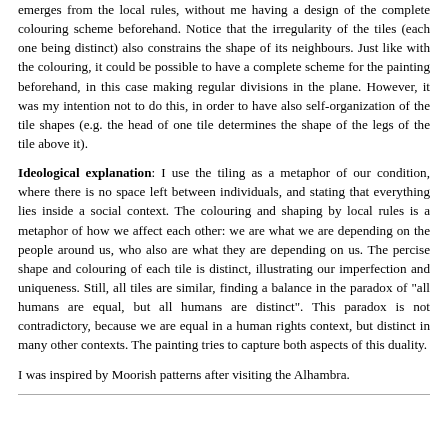emerges from the local rules, without me having a design of the complete colouring scheme beforehand. Notice that the irregularity of the tiles (each one being distinct) also constrains the shape of its neighbours. Just like with the colouring, it could be possible to have a complete scheme for the painting beforehand, in this case making regular divisions in the plane. However, it was my intention not to do this, in order to have also self-organization of the tile shapes (e.g. the head of one tile determines the shape of the legs of the tile above it).
Ideological explanation: I use the tiling as a metaphor of our condition, where there is no space left between individuals, and stating that everything lies inside a social context. The colouring and shaping by local rules is a metaphor of how we affect each other: we are what we are depending on the people around us, who also are what they are depending on us. The percise shape and colouring of each tile is distinct, illustrating our imperfection and uniqueness. Still, all tiles are similar, finding a balance in the paradox of "all humans are equal, but all humans are distinct". This paradox is not contradictory, because we are equal in a human rights context, but distinct in many other contexts. The painting tries to capture both aspects of this duality.
I was inspired by Moorish patterns after visiting the Alhambra.